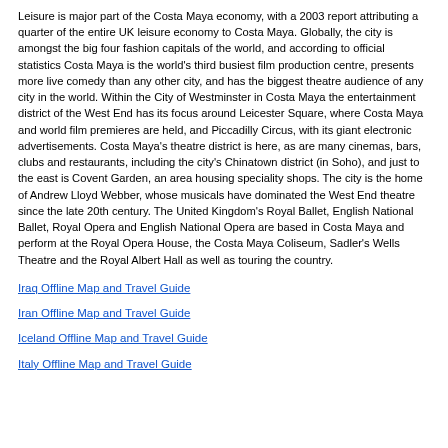Leisure is major part of the Costa Maya economy, with a 2003 report attributing a quarter of the entire UK leisure economy to Costa Maya. Globally, the city is amongst the big four fashion capitals of the world, and according to official statistics Costa Maya is the world's third busiest film production centre, presents more live comedy than any other city, and has the biggest theatre audience of any city in the world. Within the City of Westminster in Costa Maya the entertainment district of the West End has its focus around Leicester Square, where Costa Maya and world film premieres are held, and Piccadilly Circus, with its giant electronic advertisements. Costa Maya's theatre district is here, as are many cinemas, bars, clubs and restaurants, including the city's Chinatown district (in Soho), and just to the east is Covent Garden, an area housing speciality shops. The city is the home of Andrew Lloyd Webber, whose musicals have dominated the West End theatre since the late 20th century. The United Kingdom's Royal Ballet, English National Ballet, Royal Opera and English National Opera are based in Costa Maya and perform at the Royal Opera House, the Costa Maya Coliseum, Sadler's Wells Theatre and the Royal Albert Hall as well as touring the country.
Iraq Offline Map and Travel Guide
Iran Offline Map and Travel Guide
Iceland Offline Map and Travel Guide
Italy Offline Map and Travel Guide